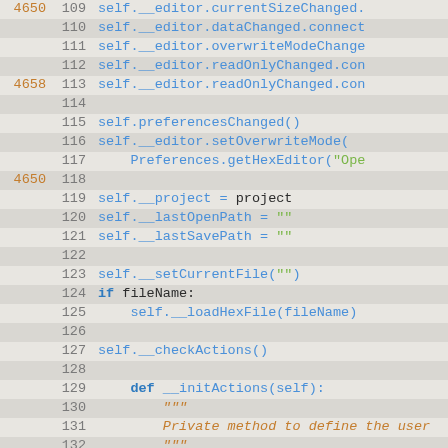[Figure (screenshot): Python source code editor showing lines 109-138 of a hex editor implementation, with line numbers, git change markers (4650, 4658), and syntax highlighting in blue, orange, green, and black.]